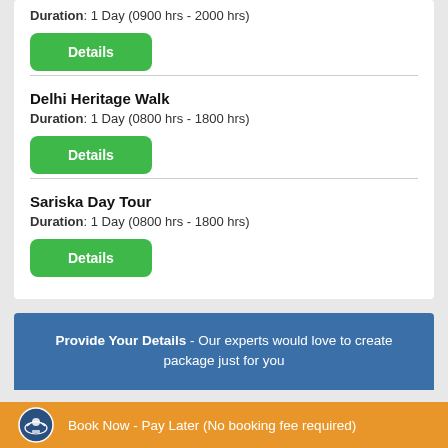Duration: 1 Day (0900 hrs - 2000 hrs)
Details
Delhi Heritage Walk
Duration: 1 Day (0800 hrs - 1800 hrs)
Details
Sariska Day Tour
Duration: 1 Day (0800 hrs - 1800 hrs)
Details
Provide Your Details - Our experts would love to create package just for you
Book Now - Pay Later (No booking fee required)